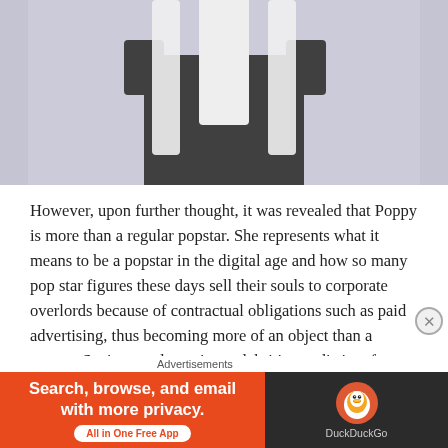[Figure (photo): Photo of a person with long white/silver hair wearing a dark short-sleeved top, photographed against a light lavender/grey background, showing the torso and hair from roughly shoulders upward.]
However, upon further thought, it was revealed that Poppy is more than a regular popstar. She represents what it means to be a popstar in the digital age and how so many pop star figures these days sell their souls to corporate overlords because of contractual obligations such as paid advertising, thus becoming more of an object than a person. Society tends to view celebrities as distinct from normal people, so we begin to see Poppy as a representation instead of an actual person. In the series, the fictional unnamed entity that controls Poppy is attempting to create a symbol to generate revenue. Unfortunately, that means the
Advertisements
[Figure (screenshot): DuckDuckGo advertisement banner: orange left section with text 'Search, browse, and email with more privacy.' and 'All in One Free App' button; dark right section with DuckDuckGo duck logo and brand name.]